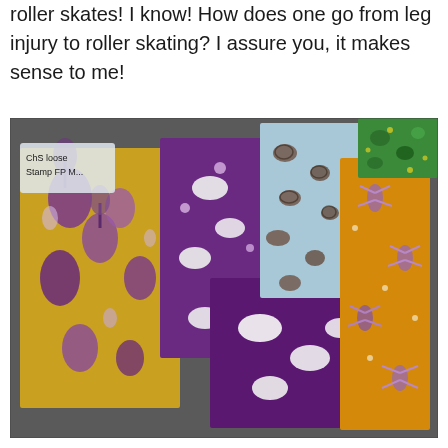roller skates! I know! How does one go from leg injury to roller skating? I assure you, it makes sense to me!
[Figure (photo): A photograph of several folded fabric pieces laid out on a surface. The fabrics feature colorful patterns including purple and yellow with birds and floral motifs, leopard print in blue and brown, orange/yellow with dragonfly pattern, and green with floral print. A small plastic bag in the upper left is labeled 'ChS loose Stamp FP M...'.]